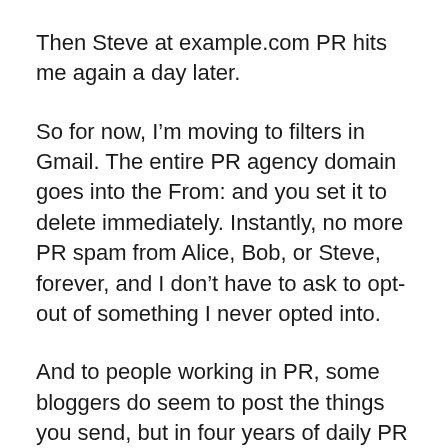Then Steve at example.com PR hits me again a day later.
So for now, I’m moving to filters in Gmail. The entire PR agency domain goes into the From: and you set it to delete immediately. Instantly, no more PR spam from Alice, Bob, or Steve, forever, and I don’t have to ask to opt-out of something I never opted into.
And to people working in PR, some bloggers do seem to post the things you send, but in four years of daily PR email blasts that now number in the thousands, I recall one or two being something I was actually interested in. That’s about the same success ratio of general email